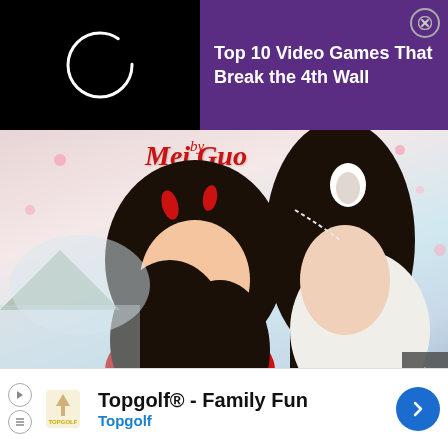[Figure (screenshot): Screenshot of a webpage showing a purple advertisement banner at top reading 'Top 10 Video Games That Break the 4th Wall' with a close X button, a loading spinner on black background to the left, overlaid on a manga/anime illustration page titled 'by Mei Guo' showing two anime-style characters with black hair in traditional Chinese clothing against a pink and blue background, and a bottom ad banner for 'Topgolf® - Family Fun / Topgolf' with logo and navigation arrow.]